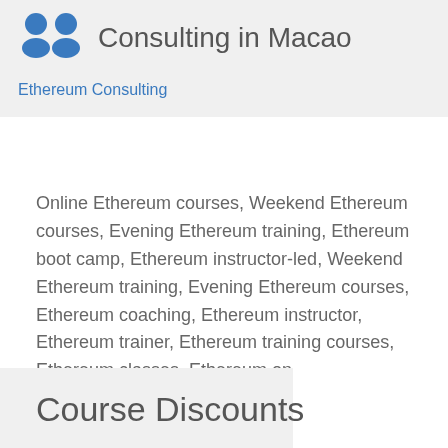Consulting in Macao
Ethereum Consulting
Online Ethereum courses, Weekend Ethereum courses, Evening Ethereum training, Ethereum boot camp, Ethereum instructor-led, Weekend Ethereum training, Evening Ethereum courses, Ethereum coaching, Ethereum instructor, Ethereum trainer, Ethereum training courses, Ethereum classes, Ethereum on-site, Ethereum private courses, Ethereum one on one training
Course Discounts